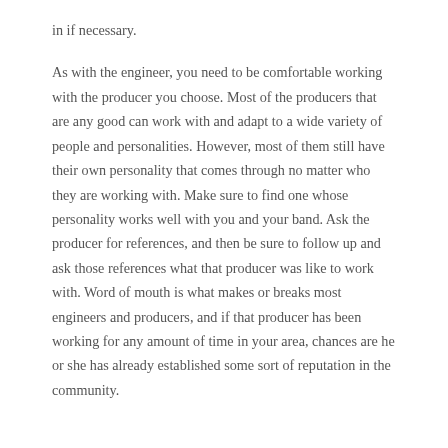in if necessary.

As with the engineer, you need to be comfortable working with the producer you choose. Most of the producers that are any good can work with and adapt to a wide variety of people and personalities. However, most of them still have their own personality that comes through no matter who they are working with. Make sure to find one whose personality works well with you and your band. Ask the producer for references, and then be sure to follow up and ask those references what that producer was like to work with. Word of mouth is what makes or breaks most engineers and producers, and if that producer has been working for any amount of time in your area, chances are he or she has already established some sort of reputation in the community.